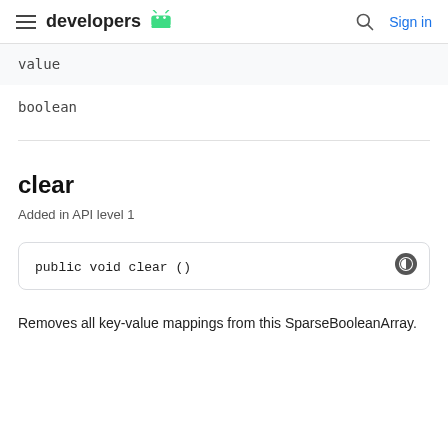developers  Sign in
| value |
| --- |
| boolean |
clear
Added in API level 1
public void clear ()
Removes all key-value mappings from this SparseBooleanArray.